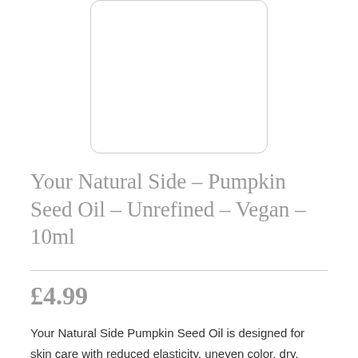[Figure (photo): Product image placeholder box with rounded corners and light grey border]
Your Natural Side – Pumpkin Seed Oil – Unrefined – Vegan – 10ml
£4.99
Your Natural Side Pumpkin Seed Oil is designed for skin care with reduced elasticity, uneven color, dry, scaly and